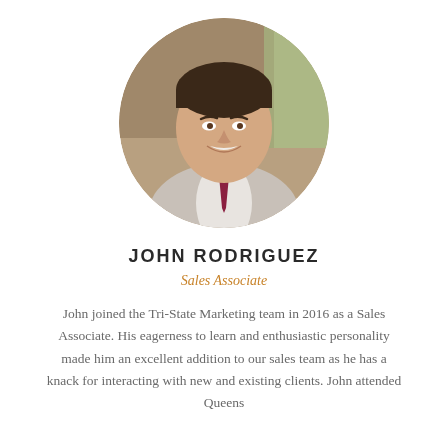[Figure (photo): Circular professional headshot of John Rodriguez, a man in a light gray suit with a dark red/maroon tie, smiling, with a blurred warm indoor background]
JOHN RODRIGUEZ
Sales Associate
John joined the Tri-State Marketing team in 2016 as a Sales Associate. His eagerness to learn and enthusiastic personality made him an excellent addition to our sales team as he has a knack for interacting with new and existing clients. John attended Queens